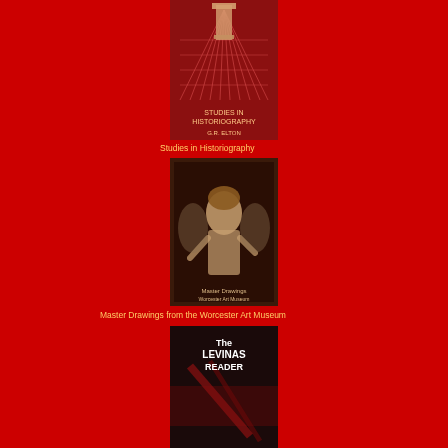[Figure (illustration): Book cover: Studies in Historiography - red cover with grid/perspective lines and a column]
Studies in Historiography
[Figure (illustration): Book cover: Master Drawings from the Worcester Art Museum - dark cover with a classical figure drawing]
Master Drawings from the Worcester Art Museum
[Figure (illustration): Book cover: The Levinas Reader - dark cover with abstract/dramatic imagery]
The Levinas Reader
[Figure (illustration): Book cover: The Pursuit of Love & Love in a Cold Climate: Two Novels - illustrated cover with figures]
The Pursuit of Love & Love in a Cold Climate: Two Novels
[Figure (illustration): Book cover: partially visible at bottom - black and white photo of a man with a hat]